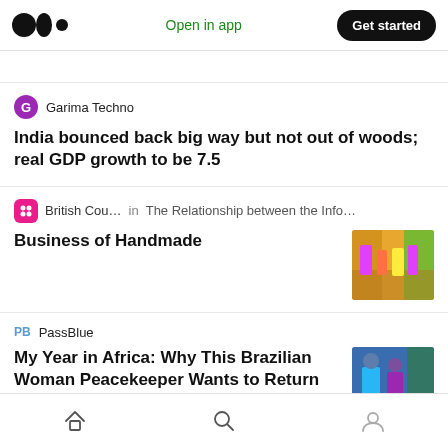Medium | Open in app | Get started
Garima Techno
India bounced back big way but not out of woods; real GDP growth to be 7.5
British Cou... in The Relationship between the Info...
Business of Handmade
PB  PassBlue
My Year in Africa: Why This Brazilian Woman Peacekeeper Wants to Return
Oasimiamila
Home | Search | Profile